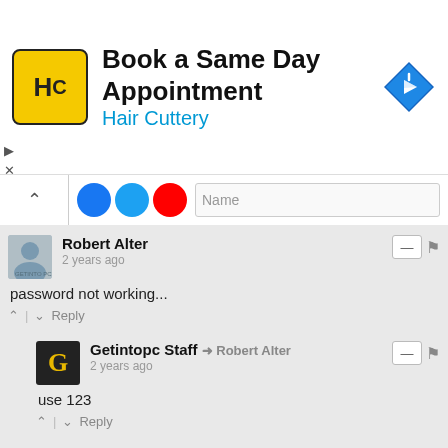[Figure (screenshot): Advertisement banner for Hair Cuttery: Book a Same Day Appointment, with Hair Cuttery logo (HC in yellow square) and a blue navigation/direction icon.]
[Figure (screenshot): Partial UI strip showing social share icons (Facebook, Twitter, Google+) and a Name input field with a collapse chevron.]
Robert Alter
2 years ago
password not working...
^ | v  Reply
Getintopc Staff → Robert Alter
2 years ago
use 123
^ | v  Reply
Pria akter
2 years ago
i can't crack this file...
how to do this? please help